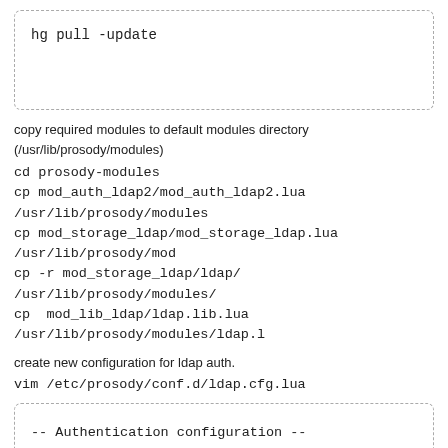[Figure (other): Code box with dashed border containing: hg pull -update]
copy required modules to default modules directory (/usr/lib/prosody/modules)
cd prosody-modules
cp mod_auth_ldap2/mod_auth_ldap2.lua /usr/lib/prosody/modules
cp mod_storage_ldap/mod_storage_ldap.lua /usr/lib/prosody/mod
cp -r mod_storage_ldap/ldap/ /usr/lib/prosody/modules/
cp  mod_lib_ldap/ldap.lib.lua /usr/lib/prosody/modules/ldap.l
create new configuration for ldap auth.
vim /etc/prosody/conf.d/ldap.cfg.lua
[Figure (other): Code box with dashed border containing: -- Authentication configuration --

authentication = 'ldap2' -- Indicate that we want]